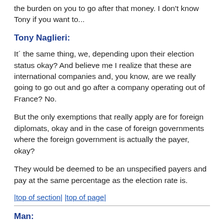the burden on you to go after that money. I don't know Tony if you want to...
Tony Naglieri:
It' the same thing, we, depending upon their election status okay? And believe me I realize that these are international companies and, you know, are we really going to go out and go after a company operating out of France? No.
But the only exemptions that really apply are for foreign diplomats, okay and in the case of foreign governments where the foreign government is actually the payer, okay?
They would be deemed to be an unspecified payers and pay at the same percentage as the election rate is.
|top of section| |top of page|
Man:
(Unintelligible) Q&As to be a little bit better?